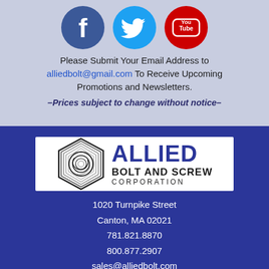[Figure (logo): Three social media icons: Facebook (blue circle with f), Twitter (light blue circle with bird), YouTube (red circle with You Tube text)]
Please Submit Your Email Address to alliedbolt@gmail.com To Receive Upcoming Promotions and Newsletters.
–Prices subject to change without notice–
[Figure (logo): Allied Bolt and Screw Corporation logo: hexagonal bolt icon on left, company name ALLIED BOLT AND SCREW CORPORATION on right, white background]
1020 Turnpike Street
Canton, MA 02021
781.821.8870
800.877.2907
sales@alliedbolt.com